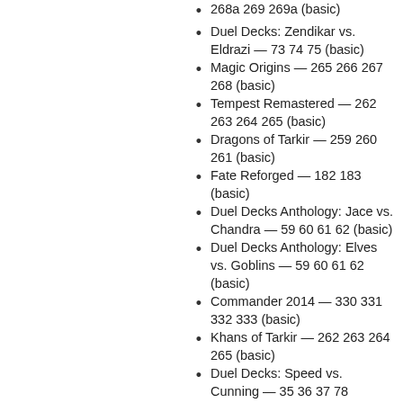268a 269 269a (basic)
Duel Decks: Zendikar vs. Eldrazi — 73 74 75 (basic)
Magic Origins — 265 266 267 268 (basic)
Tempest Remastered — 262 263 264 265 (basic)
Dragons of Tarkir — 259 260 261 (basic)
Fate Reforged — 182 183 (basic)
Duel Decks Anthology: Jace vs. Chandra — 59 60 61 62 (basic)
Duel Decks Anthology: Elves vs. Goblins — 59 60 61 62 (basic)
Commander 2014 — 330 331 332 333 (basic)
Khans of Tarkir — 262 263 264 265 (basic)
Duel Decks: Speed vs. Cunning — 35 36 37 78